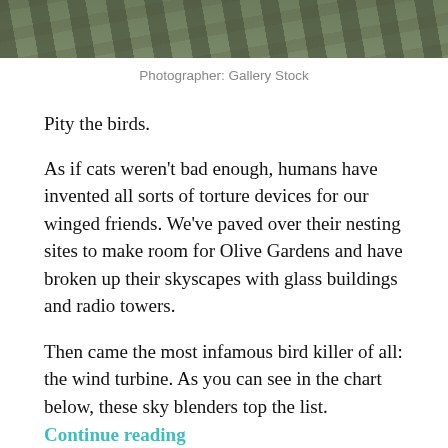[Figure (photo): Cropped top portion of a photo showing foliage/leaves texture in dark green and grey tones]
Photographer: Gallery Stock
Pity the birds.
As if cats weren't bad enough, humans have invented all sorts of torture devices for our winged friends. We've paved over their nesting sites to make room for Olive Gardens and have broken up their skyscapes with glass buildings and radio towers.
Then came the most infamous bird killer of all: the wind turbine. As you can see in the chart below, these sky blenders top the list. Continue reading
ENERGY EFFICIENCY, ENERGY TRANSITION, RENEWABLE